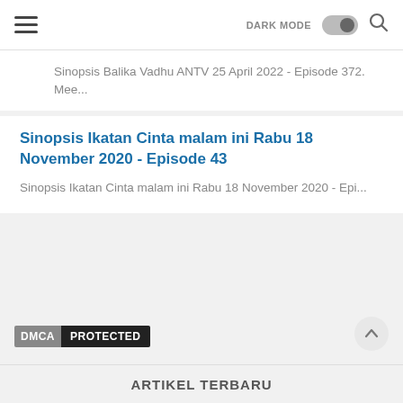DARK MODE [toggle] [search]
Sinopsis Balika Vadhu ANTV 25 April 2022 - Episode 372. Mee...
Sinopsis Ikatan Cinta malam ini Rabu 18 November 2020 - Episode 43
Sinopsis Ikatan Cinta malam ini Rabu 18 November 2020 - Epi...
[Figure (logo): DMCA PROTECTED badge]
ARTIKEL TERBARU